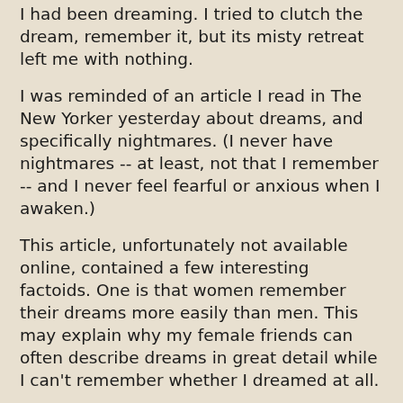I had been dreaming. I tried to clutch the dream, remember it, but its misty retreat left me with nothing.
I was reminded of an article I read in The New Yorker yesterday about dreams, and specifically nightmares. (I never have nightmares -- at least, not that I remember -- and I never feel fearful or anxious when I awaken.)
This article, unfortunately not available online, contained a few interesting factoids. One is that women remember their dreams more easily than men. This may explain why my female friends can often describe dreams in great detail while I can't remember whether I dreamed at all.
(When I was in the Peace Corps, my roommate Juliet would awaken every morning and offer up a step-by-step recitation of her dreams. It blew my mind that she could remember them so well. Every plot twist, dialogue, scenes stretching back what seemed like hours -- you name it. I always suspected her of making it all up.)
The other, and more interesting, factoid is that dreams seem to be changing. When Sigmund Freud and others I don't yet